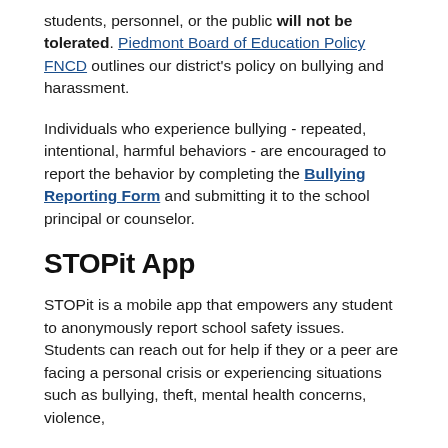students, personnel, or the public will not be tolerated. Piedmont Board of Education Policy FNCD outlines our district's policy on bullying and harassment.
Individuals who experience bullying - repeated, intentional, harmful behaviors - are encouraged to report the behavior by completing the Bullying Reporting Form and submitting it to the school principal or counselor.
STOPit App
STOPit is a mobile app that empowers any student to anonymously report school safety issues. Students can reach out for help if they or a peer are facing a personal crisis or experiencing situations such as bullying, theft, mental health concerns, violence,